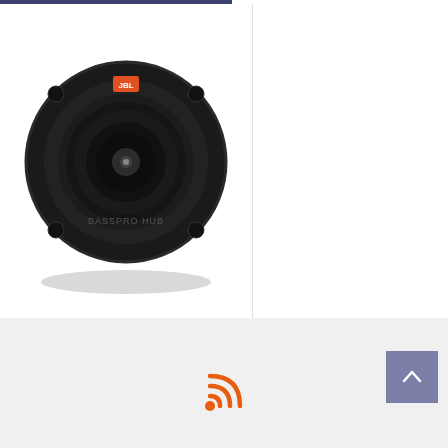[Figure (photo): JBL BassPro Hub subwoofer - circular black speaker viewed from front]
$299.97
RSS feed icon and back to top button